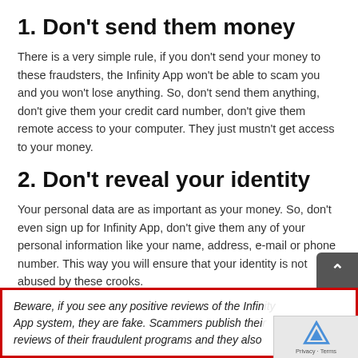1. Don’t send them money
There is a very simple rule, if you don’t send your money to these fraudsters, the Infinity App won’t be able to scam you and you won’t lose anything. So, don’t send them anything, don’t give them your credit card number, don’t give them remote access to your computer. They just mustn’t get access to your money.
2. Don’t reveal your identity
Your personal data are as important as your money. So, don’t even sign up for Infinity App, don’t give them any of your personal information like your name, address, e-mail or phone number. This way you will ensure that your identity is not abused by these crooks.
Beware, if you see any positive reviews of the Infinity App system, they are fake. Scammers publish their reviews of their fraudulent programs and they also